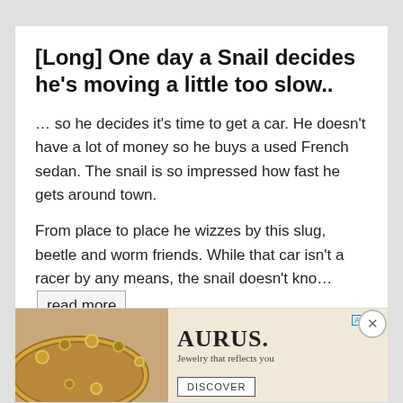[Long] One day a Snail decides he’s moving a little too slow..
… so he decides it’s time to get a car. He doesn’t have a lot of money so he buys a used French sedan. The snail is so impressed how fast he gets around town.
From place to place he wizzes by this slug, beetle and worm friends. While that car isn’t a racer by any means, the snail doesn’t kno… [read more]
UPVOTE   DOWNVOTE   REPORT
I wa… num… and elev…
[Figure (advertisement): AURUS jewelry advertisement with bracelet photo, tagline 'Jewelry that reflects you' and DISCOVER button]